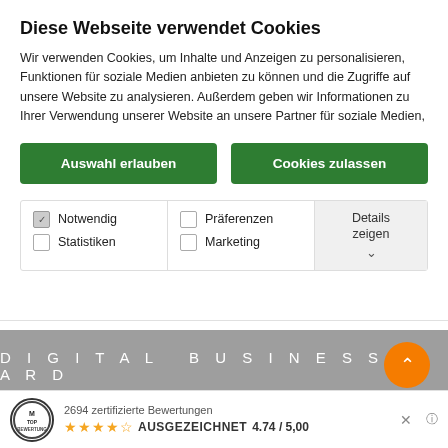Diese Webseite verwendet Cookies
Wir verwenden Cookies, um Inhalte und Anzeigen zu personalisieren, Funktionen für soziale Medien anbieten zu können und die Zugriffe auf unsere Website zu analysieren. Außerdem geben wir Informationen zu Ihrer Verwendung unserer Website an unsere Partner für soziale Medien,
Auswahl erlauben
Cookies zulassen
Notwendig
Statistiken
Präferenzen
Marketing
Details zeigen
[Figure (screenshot): Gray banner with spaced text DIGITAL BUSINESS CARD]
2694 zertifizierte Bewertungen
★★★★☆ AUSGEZEICHNET 4.74 / 5,00